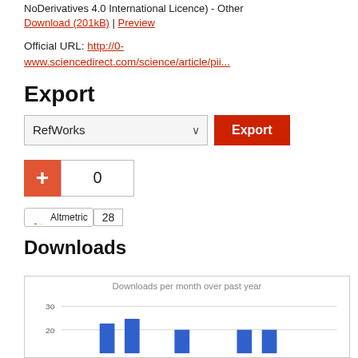NoDerivatives 4.0 International Licence) - Other Download (201kB) | Preview
Official URL: http://0-www.sciencedirect.com/science/article/pii...
Export
[Figure (screenshot): Export dropdown selector showing 'RefWorks' and red Export button]
[Figure (screenshot): Plus button (red) and count box showing 0]
[Figure (screenshot): Altmetric badge showing score 28]
Downloads
[Figure (bar-chart): Bar chart showing downloads per month, y-axis shows values 20 and 30, bars visible at bottom of chart]